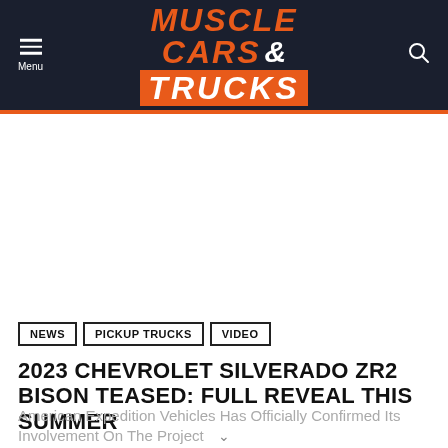MUSCLE CARS & TRUCKS
NEWS
PICKUP TRUCKS
VIDEO
2023 CHEVROLET SILVERADO ZR2 BISON TEASED: FULL REVEAL THIS SUMMER
American Expedition Vehicles Has Officially Confirmed Its Involvement On The Project